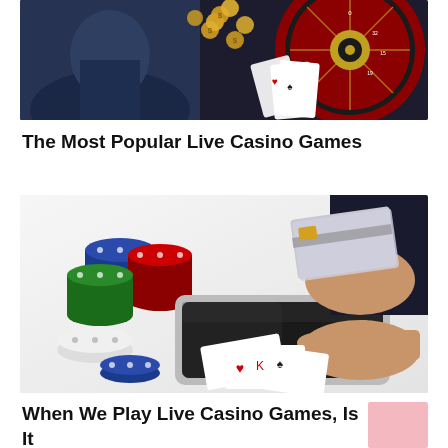[Figure (photo): Casino scene with roulette wheel, playing cards, and gold coins on a dark background with a person visible]
The Most Popular Live Casino Games
[Figure (photo): Hands holding a credit card over a tablet, with poker chips stacked (blue, red, green, white) and playing cards on a white surface]
When We Play Live Casino Games, Is It Random?